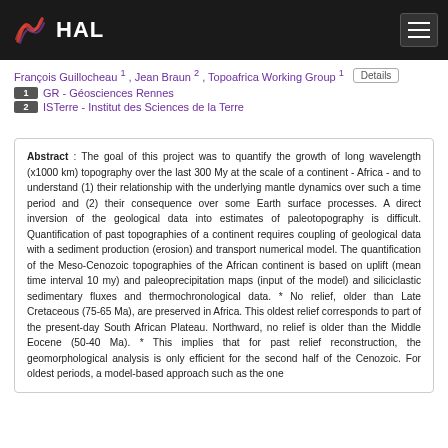HAL
François Guillocheau 1 , Jean Braun 2 , Topoafrica Working Group 1
1  GR - Géosciences Rennes
2  ISTerre - Institut des Sciences de la Terre
Abstract : The goal of this project was to quantify the growth of long wavelength (x1000 km) topography over the last 300 My at the scale of a continent - Africa - and to understand (1) their relationship with the underlying mantle dynamics over such a time period and (2) their consequence over some Earth surface processes. A direct inversion of the geological data into estimates of paleotopography is difficult. Quantification of past topographies of a continent requires coupling of geological data with a sediment production (erosion) and transport numerical model. The quantification of the Meso-Cenozoic topographies of the African continent is based on uplift (mean time interval 10 my) and paleoprecipitation maps (input of the model) and siliciclastic sedimentary fluxes and thermochronological data. * No relief, older than Late Cretaceous (75-65 Ma), are preserved in Africa. This oldest relief corresponds to part of the present-day South African Plateau. Northward, no relief is older than the Middle Eocene (50-40 Ma). * This implies that for past relief reconstruction, the geomorphological analysis is only efficient for the second half of the Cenozoic. For oldest periods, a model-based approach such as the one